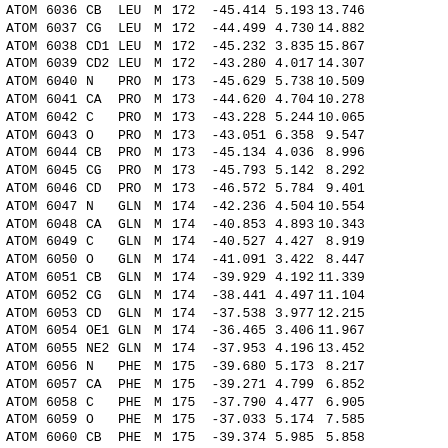|  |  |  |  |  |  | x | y | z |  |
| --- | --- | --- | --- | --- | --- | --- | --- | --- | --- |
| ATOM | 6036 | CB | LEU | M | 172 | -45.414 | 5.193 | 13.746 |  |
| ATOM | 6037 | CG | LEU | M | 172 | -44.499 | 4.730 | 14.882 |  |
| ATOM | 6038 | CD1 | LEU | M | 172 | -45.232 | 3.835 | 15.867 |  |
| ATOM | 6039 | CD2 | LEU | M | 172 | -43.280 | 4.017 | 14.307 |  |
| ATOM | 6040 | N | PRO | M | 173 | -45.629 | 5.738 | 10.509 |  |
| ATOM | 6041 | CA | PRO | M | 173 | -44.620 | 4.704 | 10.278 |  |
| ATOM | 6042 | C | PRO | M | 173 | -43.228 | 5.244 | 10.065 |  |
| ATOM | 6043 | O | PRO | M | 173 | -43.051 | 6.358 | 9.547 |  |
| ATOM | 6044 | CB | PRO | M | 173 | -45.134 | 4.036 | 8.996 |  |
| ATOM | 6045 | CG | PRO | M | 173 | -45.793 | 5.142 | 8.292 |  |
| ATOM | 6046 | CD | PRO | M | 173 | -46.572 | 5.784 | 9.401 |  |
| ATOM | 6047 | N | GLN | M | 174 | -42.236 | 4.504 | 10.554 |  |
| ATOM | 6048 | CA | GLN | M | 174 | -40.853 | 4.893 | 10.343 |  |
| ATOM | 6049 | C | GLN | M | 174 | -40.527 | 4.427 | 8.919 |  |
| ATOM | 6050 | O | GLN | M | 174 | -41.091 | 3.422 | 8.447 |  |
| ATOM | 6051 | CB | GLN | M | 174 | -39.929 | 4.192 | 11.339 |  |
| ATOM | 6052 | CG | GLN | M | 174 | -38.441 | 4.497 | 11.104 |  |
| ATOM | 6053 | CD | GLN | M | 174 | -37.538 | 3.977 | 12.215 |  |
| ATOM | 6054 | OE1 | GLN | M | 174 | -36.465 | 3.406 | 11.967 |  |
| ATOM | 6055 | NE2 | GLN | M | 174 | -37.953 | 4.196 | 13.452 |  |
| ATOM | 6056 | N | PHE | M | 175 | -39.680 | 5.173 | 8.217 |  |
| ATOM | 6057 | CA | PHE | M | 175 | -39.271 | 4.799 | 6.852 |  |
| ATOM | 6058 | C | PHE | M | 175 | -37.790 | 4.477 | 6.905 |  |
| ATOM | 6059 | O | PHE | M | 175 | -37.033 | 5.174 | 7.585 |  |
| ATOM | 6060 | CB | PHE | M | 175 | -39.374 | 5.985 | 5.858 |  |
| ATOM | 6061 | CG | PHE | M | 175 | -40.758 | 6.514 | 5.634 |  |
| ATOM | 6062 | CD1 | PHE | M | 175 | -41.900 | 5.800 | 6.004 |  |
| ATOM | 6063 | CD2 | PHE | M | 175 | -40.917 | 7.753 | 5.001 |  |
| ATOM | 6064 | CE1 | PHE | M | 175 | -43.176 | 6.309 | 5.745 |  |
| ATOM | 6065 | CE2 | PHE | M | 175 | -42.200 | 8.264 | 4.738 |  |